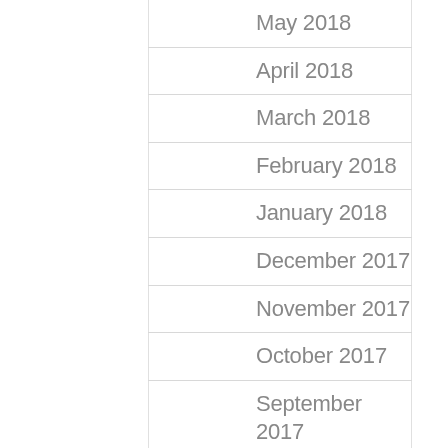May 2018
April 2018
March 2018
February 2018
January 2018
December 2017
November 2017
October 2017
September 2017
August 2017
July 2017